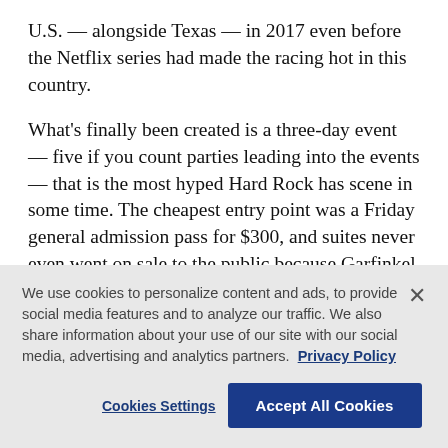U.S. — alongside Texas — in 2017 even before the Netflix series had made the racing hot in this country.
What's finally been created is a three-day event — five if you count parties leading into the events — that is the most hyped Hard Rock has scene in some time. The cheapest entry point was a Friday general admission pass for $300, and suites never even went on sale to the public because Garfinkel had over 5,000 deposits of $5,000 each through early inquiries.
The U.S. went four years without an F1 race after the
We use cookies to personalize content and ads, to provide social media features and to analyze our traffic. We also share information about your use of our site with our social media, advertising and analytics partners. Privacy Policy